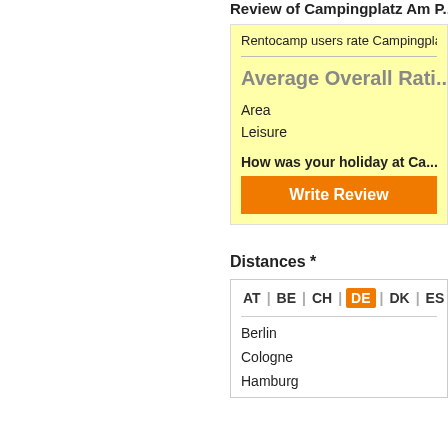Review of Campingplatz Am ...
Rentocamp users rate Campingpla...
Average Overall Rati...
Area
Leisure
How was your holiday at Ca...
Write Review
Distances *
AT | BE | CH | DE | DK | ES |
Berlin
Cologne
Hamburg